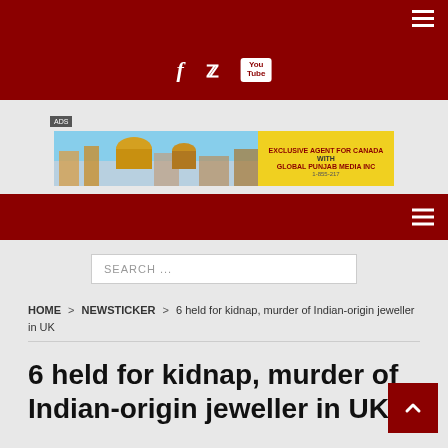Social media icons: Facebook, Twitter, YouTube
[Figure (illustration): Banner advertisement showing Golden Temple and Global Punjab Media Inc logo]
Navigation bar with hamburger menu
SEARCH ...
HOME > NEWSTICKER > 6 held for kidnap, murder of Indian-origin jeweller in UK
6 held for kidnap, murder of Indian-origin jeweller in UK